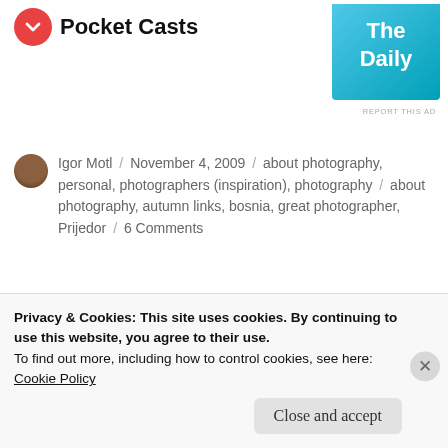[Figure (logo): Pocket Casts logo with red circular icon and bold text 'Pocket Casts']
[Figure (illustration): The Daily podcast badge - teal/blue gradient square with white text 'The Daily']
REPORT THIS AD
Igor Motl / November 4, 2009 / about photography, personal, photographers (inspiration), photography / about photography, autumn links, bosnia, great photographer, Prijedor / 6 Comments
Home
Blog
Privacy & Cookies: This site uses cookies. By continuing to use this website, you agree to their use.
To find out more, including how to control cookies, see here:
Cookie Policy
Close and accept